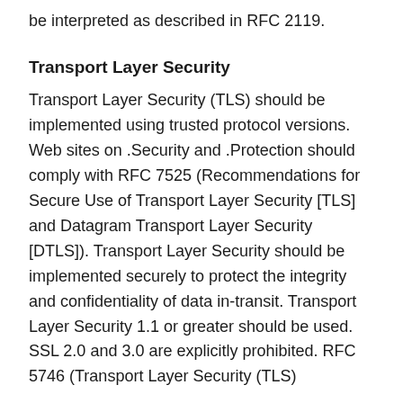be interpreted as described in RFC 2119.
Transport Layer Security
Transport Layer Security (TLS) should be implemented using trusted protocol versions. Web sites on .Security and .Protection should comply with RFC 7525 (Recommendations for Secure Use of Transport Layer Security [TLS] and Datagram Transport Layer Security [DTLS]). Transport Layer Security should be implemented securely to protect the integrity and confidentiality of data in-transit. Transport Layer Security 1.1 or greater should be used. SSL 2.0 and 3.0 are explicitly prohibited. RFC 5746 (Transport Layer Security (TLS)